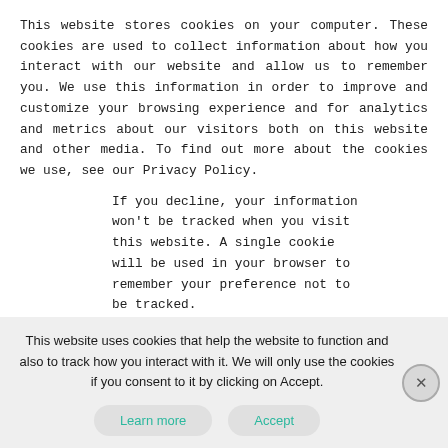This website stores cookies on your computer. These cookies are used to collect information about how you interact with our website and allow us to remember you. We use this information in order to improve and customize your browsing experience and for analytics and metrics about our visitors both on this website and other media. To find out more about the cookies we use, see our Privacy Policy.
If you decline, your information won't be tracked when you visit this website. A single cookie will be used in your browser to remember your preference not to be tracked.
[Figure (screenshot): Two cookie consent buttons: a filled teal 'Accept' button and an outlined teal 'Decline' button]
The Hidden Pattern Behind
Everything We Do
This website uses cookies that help the website to function and also to track how you interact with it. We will only use the cookies if you consent to it by clicking on Accept.
[Figure (screenshot): Two rounded pill-shaped buttons: 'Learn more' and 'Accept' in teal text on light grey background, with a close (X) button on the right]